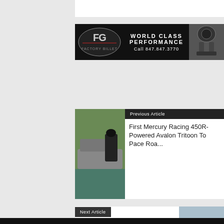[Figure (other): Factory Billet advertisement banner: black background with FG logo on left, 'WORLD CLASS PERFORMANCE Call 847.847.3770' text in center, engine parts image on right]
[Figure (photo): Previous article thumbnail: pontoon boat with Mercury Racing 450R outboard engine]
Previous Article
First Mercury Racing 450R-Powered Avalon Tritoon To Pace Roa...
Next Article
Teams Ready For RWO Clearwater Offshore
[Figure (photo): Next article thumbnail: offshore powerboat racing on water]